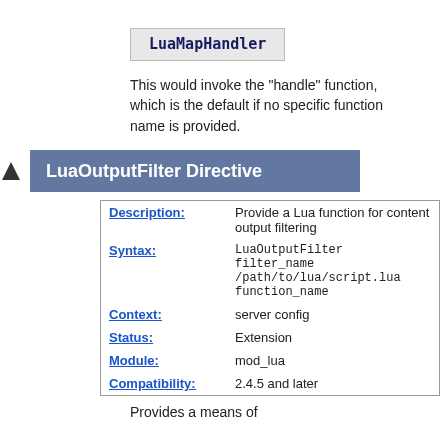LuaMapHandler
This would invoke the "handle" function, which is the default if no specific function name is provided.
LuaOutputFilter Directive
| Field | Value |
| --- | --- |
| Description: | Provide a Lua function for content output filtering |
| Syntax: | LuaOutputFilter filter_name /path/to/lua/script.lua function_name |
| Context: | server config |
| Status: | Extension |
| Module: | mod_lua |
| Compatibility: | 2.4.5 and later |
Provides a means of